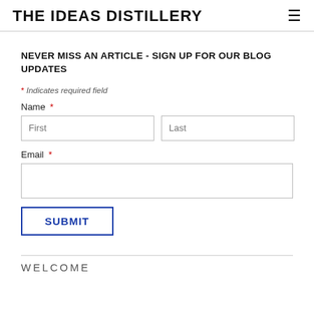THE IDEAS DISTILLERY
NEVER MISS AN ARTICLE - SIGN UP FOR OUR BLOG UPDATES
* Indicates required field
Name *
First | Last (input fields)
Email *
SUBMIT (button)
WELCOME